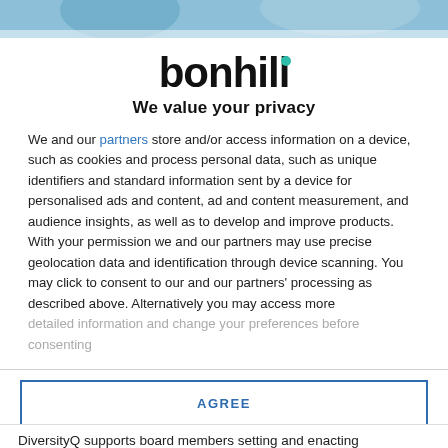[Figure (photo): Partial top strip showing a blurred/cropped image background in light blue tones]
bonhill
We value your privacy
We and our partners store and/or access information on a device, such as cookies and process personal data, such as unique identifiers and standard information sent by a device for personalised ads and content, ad and content measurement, and audience insights, as well as to develop and improve products. With your permission we and our partners may use precise geolocation data and identification through device scanning. You may click to consent to our and our partners' processing as described above. Alternatively you may access more detailed information and change your preferences before consenting
AGREE
MORE OPTIONS
DiversityQ supports board members setting and enacting